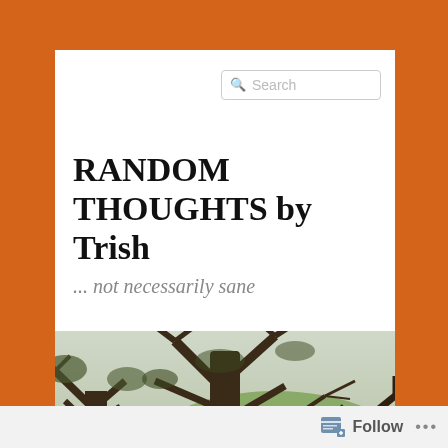[Figure (screenshot): Search box with magnifying glass icon and placeholder text 'Search']
RANDOM THOUGHTS by Trish
... not necessarily sane
[Figure (photo): Landscape photograph showing trees in the foreground with green hills and overcast sky in the background]
Follow ...